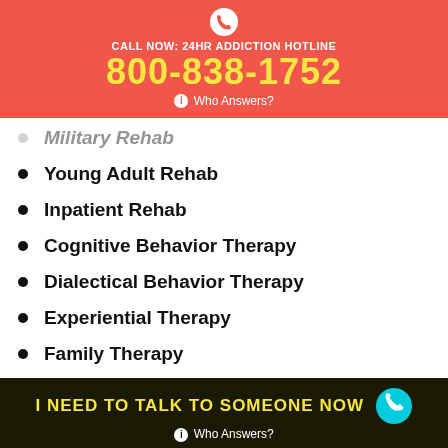CALL NOW: 24HR ADDICTION HOTLINE 800-838-1752 Who Answers?
Military Rehab
Young Adult Rehab
Inpatient Rehab
Cognitive Behavior Therapy
Dialectical Behavior Therapy
Experiential Therapy
Family Therapy
Group Therapy
Individual Therapy
I NEED TO TALK TO SOMEONE NOW Who Answers?